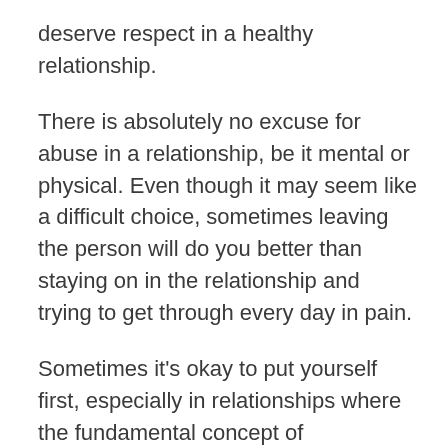deserve respect in a healthy relationship.
There is absolutely no excuse for abuse in a relationship, be it mental or physical. Even though it may seem like a difficult choice, sometimes leaving the person will do you better than staying on in the relationship and trying to get through every day in pain.
Sometimes it’s okay to put yourself first, especially in relationships where the fundamental concept of communication is beyond repair.